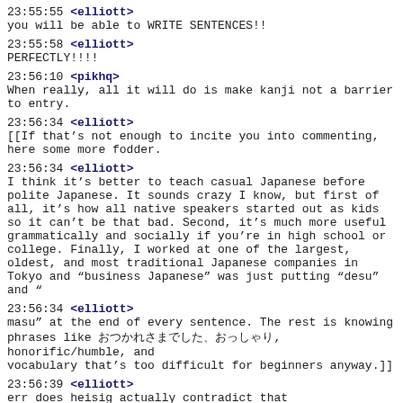23:55:55 <elliott>
you will be able to WRITE SENTENCES!!
23:55:58 <elliott>
PERFECTLY!!!!
23:56:10 <pikhq>
When really, all it will do is make kanji not a barrier to entry.
23:56:34 <elliott>
[[If that’s not enough to incite you into commenting, here some more fodder.
23:56:34 <elliott>
I think it’s better to teach casual Japanese before polite Japanese. It sounds crazy I know, but first of all, it’s how all native speakers started out as kids so it can’t be that bad. Second, it’s much more useful grammatically and socially if you’re in high school or college. Finally, I worked at one of the largest, oldest, and most traditional Japanese companies in Tokyo and “business Japanese” was just putting “desu” and “
23:56:34 <elliott>
masu” at the end of every sentence. The rest is knowing phrases like おつかれさまでした、おっしゃり, honorific/humble, and vocabulary that’s too difficult for beginners anyway.]]
23:56:39 <elliott>
err does heisig actually contradict that
23:56:42 <elliott>